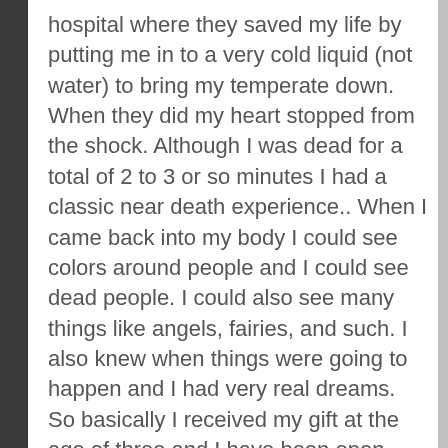hospital where they saved my life by putting me in to a very cold liquid (not water) to bring my temperate down. When they did my heart stopped from the shock. Although I was dead for a total of 2 to 3 or so minutes I had a classic near death experience.. When I came back into my body I could see colors around people and I could see dead people. I could also see many things like angels, fairies, and such. I also knew when things were going to happen and I had very real dreams. So basically I received my gift at the age of three and I have been open since then. I have been reading professionally for almost 19 years, and full time since 1991. I also use to work for the Kenny